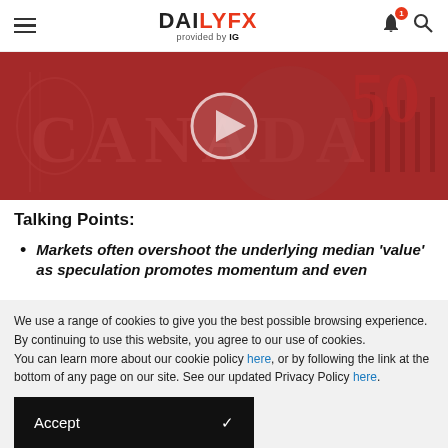DAILYFX provided by IG
[Figure (photo): Close-up of a Canadian 50-dollar banknote showing the face of a man (likely William Lyon Mackenzie King) with red tones and the text CANADA visible]
Talking Points:
Markets often overshoot the underlying median 'value' as speculation promotes momentum and even
We use a range of cookies to give you the best possible browsing experience. By continuing to use this website, you agree to our use of cookies.
You can learn more about our cookie policy here, or by following the link at the bottom of any page on our site. See our updated Privacy Policy here.
Accept